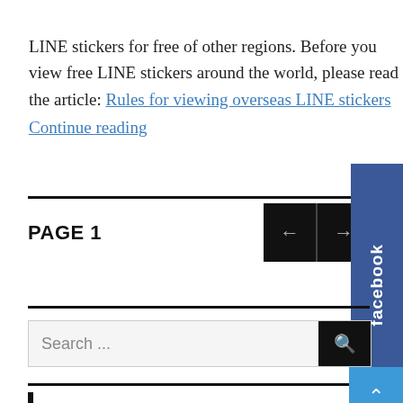LINE stickers for free of other regions. Before you view free LINE stickers around the world, please read the article: Rules for viewing overseas LINE stickers
Continue reading
PAGE 1
[Figure (other): Navigation arrows (left and right) in black boxes, and a Facebook tab on the right side]
[Figure (other): Search input field with search button]
[Figure (other): Scroll-to-top blue button with upward chevron arrow]